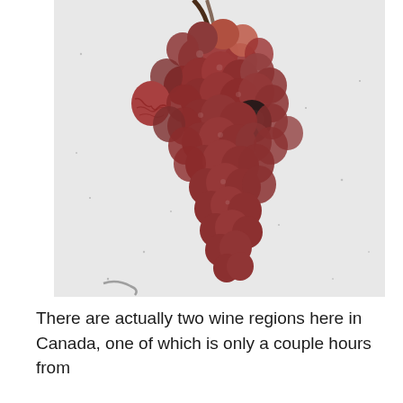[Figure (photo): Close-up photograph of a bunch of red/dark grapes hanging, some shriveled/dried, against a light grey-white background with scattered small dots. The grapes are deep red-brown in color, with one noticeably darker almost black grape visible.]
There are actually two wine regions here in Canada, one of which is only a couple hours from the canadian and the two wine regions, the...